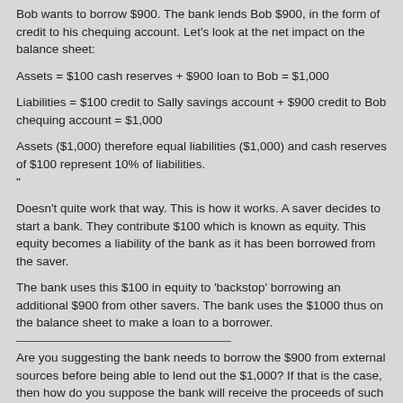Bob wants to borrow $900. The bank lends Bob $900, in the form of credit to his chequing account. Let's look at the net impact on the balance sheet:
Assets = $100 cash reserves + $900 loan to Bob = $1,000
Liabilities = $100 credit to Sally savings account + $900 credit to Bob chequing account = $1,000
Assets ($1,000) therefore equal liabilities ($1,000) and cash reserves of $100 represent 10% of liabilities.
"
Doesn't quite work that way. This is how it works. A saver decides to start a bank. They contribute $100 which is known as equity. This equity becomes a liability of the bank as it has been borrowed from the saver.
The bank uses this $100 in equity to 'backstop' borrowing an additional $900 from other savers. The bank uses the $1000 thus on the balance sheet to make a loan to a borrower.
Are you suggesting the bank needs to borrow the $900 from external sources before being able to lend out the $1,000? If that is the case, then how do you suppose the bank will receive the proceeds of such borrowings? I can think of only two ways: the bank will receive a physical